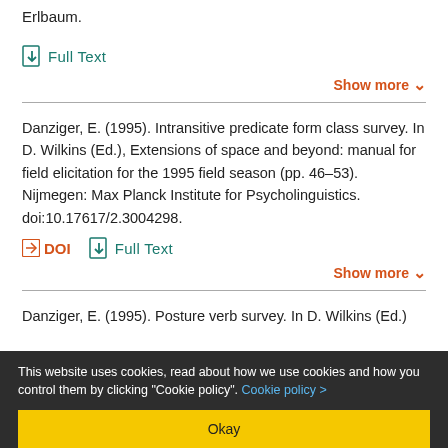Erlbaum.
Full Text
Show more
Danziger, E. (1995). Intransitive predicate form class survey. In D. Wilkins (Ed.), Extensions of space and beyond: manual for field elicitation for the 1995 field season (pp. 46–53). Nijmegen: Max Planck Institute for Psycholinguistics. doi:10.17617/2.3004298.
DOI   Full Text
Show more
Danziger, E. (1995). Posture verb survey. In D. Wilkins (Ed.)
This website uses cookies, read about how we use cookies and how you control them by clicking "Cookie policy". Cookie policy >
Okay